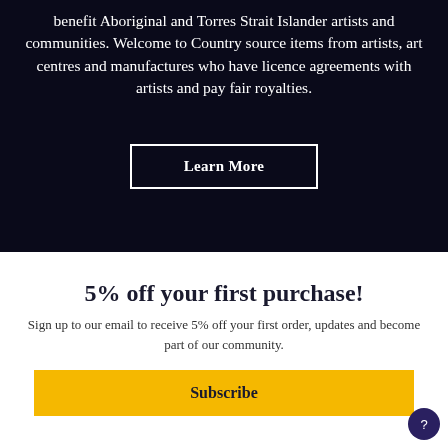benefit Aboriginal and Torres Strait Islander artists and communities. Welcome to Country source items from artists, art centres and manufactures who have licence agreements with artists and pay fair royalties.
Learn More
5% off your first purchase!
Sign up to our email to receive 5% off your first order, updates and become part of our community.
Subscribe